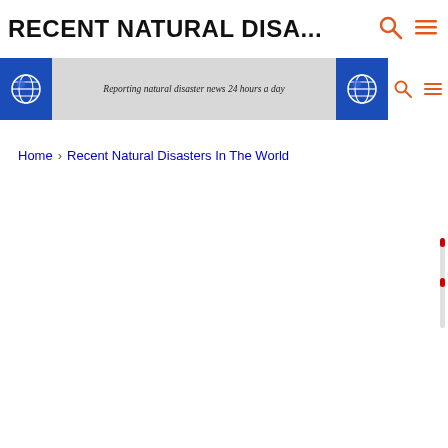RECENT NATURAL DISA...
[Figure (screenshot): Website banner with blue globe icons on either side and italic tagline 'Reporting natural disaster news 24 hours a day' in the center on a grey background, with search and menu icons on the right]
Home > Recent Natural Disasters In The World